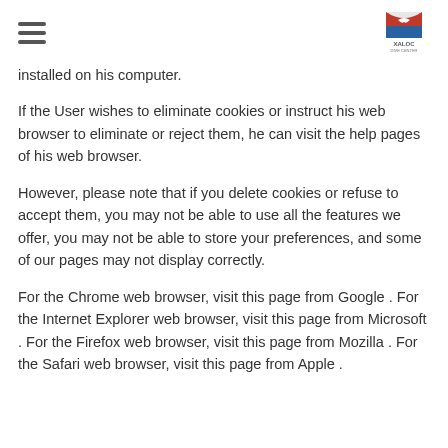[hamburger menu icon] [Xaloc Dive Center logo]
installed on his computer.
If the User wishes to eliminate cookies or instruct his web browser to eliminate or reject them, he can visit the help pages of his web browser.
However, please note that if you delete cookies or refuse to accept them, you may not be able to use all the features we offer, you may not be able to store your preferences, and some of our pages may not display correctly.
For the Chrome web browser, visit this page from Google . For the Internet Explorer web browser, visit this page from Microsoft . For the Firefox web browser, visit this page from Mozilla . For the Safari web browser, visit this page from Apple .